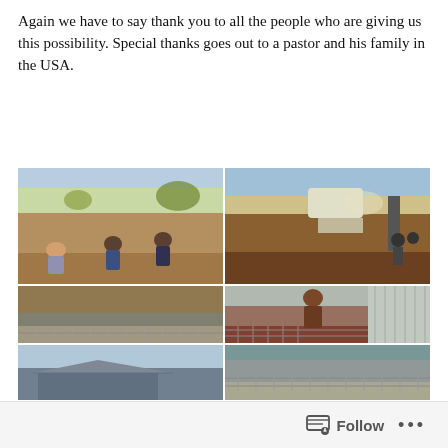Again we have to say thank you to all the people who are giving us this possibility. Special thanks goes out to a pastor and his family in the USA.
[Figure (photo): A 2×3 grid collage of six construction/building site photos showing people working on land clearing, excavation with machinery, stone foundation walls, rebar work, and a completed metal-roofed building.]
Follow ...